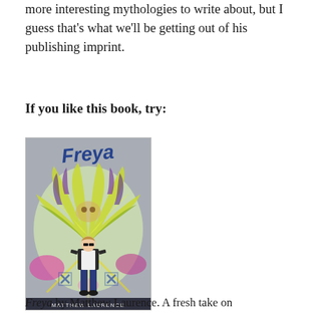more interesting mythologies to write about, but I guess that's what we'll be getting out of his publishing imprint.
If you like this book, try:
[Figure (photo): Book cover of 'Freya' by Matthew Laurence. Shows a young woman in a black jacket and jeans standing in front of a colorful graffiti mural featuring large stylized wings. The title 'Freya' is written in large blue graffiti-style lettering at the top, and the author name 'Matthew Laurence' appears at the bottom.]
Freya by Matthew Laurence. A fresh take on